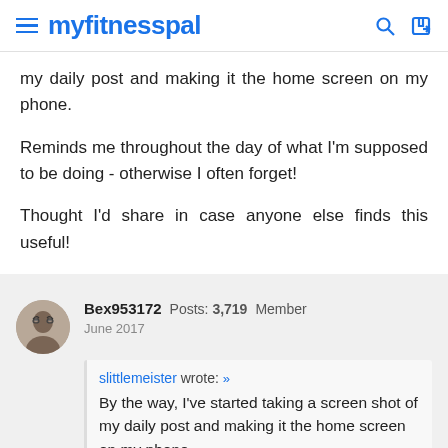myfitnesspal
my daily post and making it the home screen on my phone.
Reminds me throughout the day of what I'm supposed to be doing - otherwise I often forget!
Thought I'd share in case anyone else finds this useful!
Bex953172  Posts: 3,719  Member
June 2017
slittlemeister wrote: »
By the way, I've started taking a screen shot of my daily post and making it the home screen on my phone.